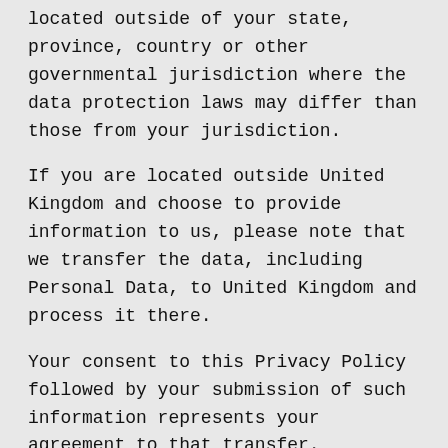located outside of your state, province, country or other governmental jurisdiction where the data protection laws may differ than those from your jurisdiction.
If you are located outside United Kingdom and choose to provide information to us, please note that we transfer the data, including Personal Data, to United Kingdom and process it there.
Your consent to this Privacy Policy followed by your submission of such information represents your agreement to that transfer.
Ace Blinds will take all steps reasonably necessary to ensure that your data is treated securely and in accordance with this Privacy Policy and no transfer of your Personal Data will take place to an organization or a country unless there are adequate controls in place including the security of your data and other personal